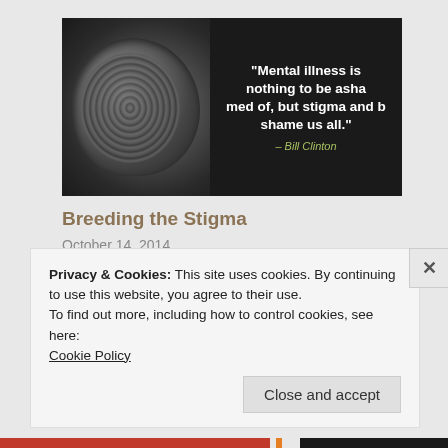[Figure (photo): Dark background image of a brain MRI scan on the left side, with a quote on the right: '"Mental illness is nothing to be ashamed of, but stigma and bias shame us all." – Bill Clinton' in white bold text on dark background]
Breeding the Stigma
October 14, 2014
In "I am not my disorder"
I am not my disorder, Uncategorized
Privacy & Cookies: This site uses cookies. By continuing to use this website, you agree to their use.
To find out more, including how to control cookies, see here:
Cookie Policy
Close and accept